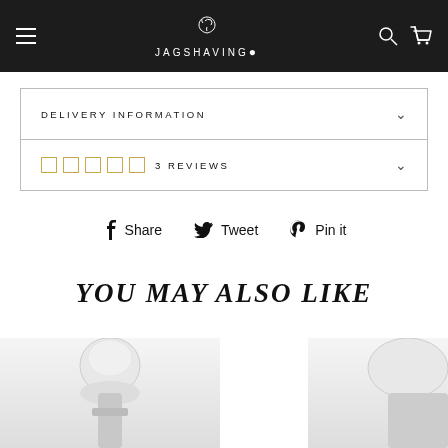JAGSHAVING. (navigation header with logo, hamburger menu, search and cart icons)
DELIVERY INFORMATION
3 REVIEWS
Share  Tweet  Pin it
YOU MAY ALSO LIKE
[Figure (photo): Product photos of shaving brushes at the bottom of the page]